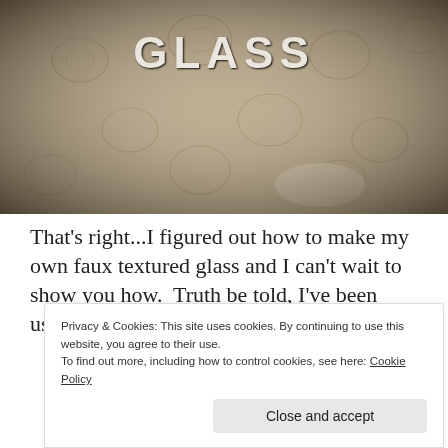[Figure (photo): Close-up photo of textured frosted glass with embossed floral/damask pattern in sepia/beige tones. The word 'GLASS' is stenciled in white capital letters near the top center of the image.]
That's right...I figured out how to make my own faux textured glass and I can't wait to show you how. Truth be told, I've been using this
Privacy & Cookies: This site uses cookies. By continuing to use this website, you agree to their use.
To find out more, including how to control cookies, see here: Cookie Policy
Close and accept